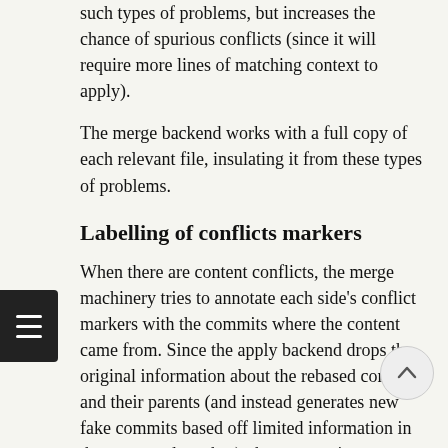such types of problems, but increases the chance of spurious conflicts (since it will require more lines of matching context to apply).
The merge backend works with a full copy of each relevant file, insulating it from these types of problems.
Labelling of conflicts markers
When there are content conflicts, the merge machinery tries to annotate each side's conflict markers with the commits where the content came from. Since the apply backend drops the original information about the rebased commits and their parents (and instead generates new fake commits based off limited information in the generated patches), those commits cannot be identified; instead it has to fall back to a commit summary. Also, when merge.conflictStyle is set to diff3 or zdiff3, the apply backend will use "constructed merge base" to label the content from the merge base, and thus provide no information about the